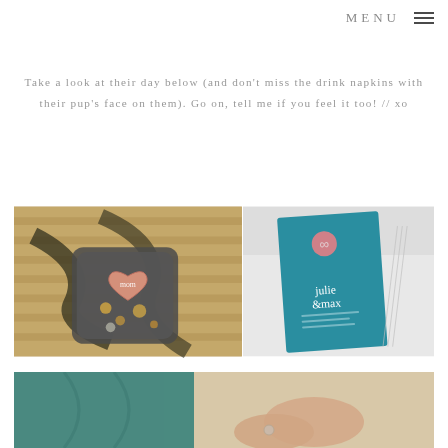MENU
Take a look at their day below (and don't miss the drink napkins with their pup's face on them). Go on, tell me if you feel it too! // xo
[Figure (photo): Left: overhead shot of a small tin containing a pink heart-shaped item labeled 'mom' and gold jewelry, placed on a textured brown and black patterned surface. Right: teal/turquoise wedding invitation card for Julie & Max with a pink wax seal, held by someone in white clothing.]
[Figure (photo): Person in a teal/green dress holding hands with another person, showing a delicate ring, warm indoor setting.]